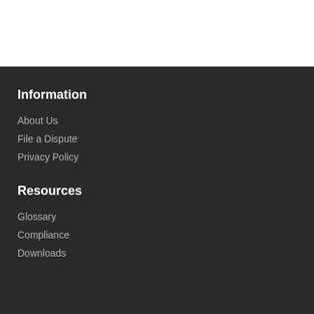Information
About Us
File a Dispute
Privacy Policy
Resources
Glossary
Compliance
Downloads